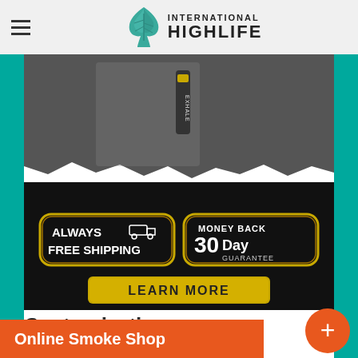International Highlife
[Figure (photo): Advertisement showing a hand holding a vape pen (EXHALE brand) with torn paper effect. Below: two black/gold badges reading 'ALWAYS FREE SHIPPING' and 'MONEY BACK 30 Day GUARANTEE', and a gold button reading 'LEARN MORE'.]
Customization
Online Smoke Shop
You can customize the interaction of these